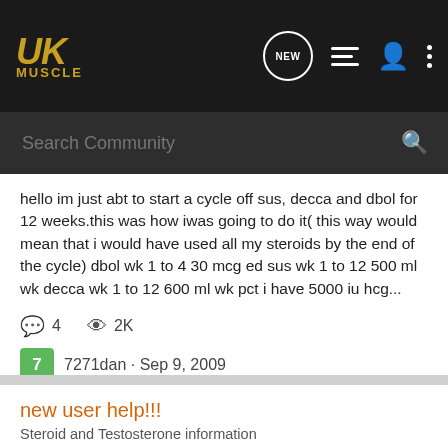UKMuscle — Search Community
hello im just abt to start a cycle off sus, decca and dbol for 12 weeks.this was how iwas going to do it( this way would mean that i would have used all my steroids by the end of the cycle) dbol wk 1 to 4 30 mcg ed sus wk 1 to 12 500 ml wk decca wk 1 to 12 600 ml wk pct i have 5000 iu hcg...
4   2K
7271dan · Sep 9, 2009
dbol  decca  sus
new user help!!!
Steroid and Testosterone information
hello i started on this site today and dont ave a clue how it works so i just gonna put a post up here i was training for